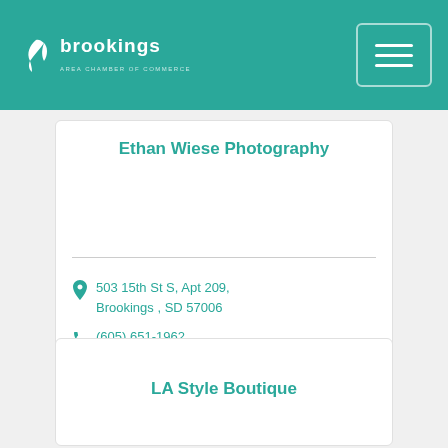Brookings Area Chamber of Commerce
Ethan Wiese Photography
503 15th St S, Apt 209, Brookings , SD 57006
(605) 651-1962
LA Style Boutique